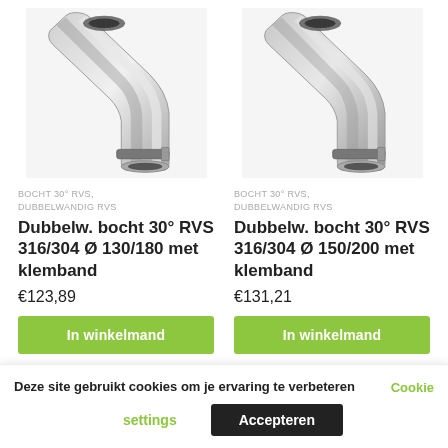[Figure (photo): Stainless steel double-wall 30° pipe bend with clamp band, product photo, left product]
BOCHT 30° RVS, DUBBELWANDIG RVS
Dubbelw. bocht 30° RVS 316/304 Ø 130/180 met klemband
€123,89
[Figure (photo): Stainless steel double-wall 30° pipe bend with clamp band, product photo, right product]
BOCHT 30° RVS, DUBBELWANDIG RVS
Dubbelw. bocht 30° RVS 316/304 Ø 150/200 met klemband
€131,21
Deze site gebruikt cookies om je ervaring te verbeteren Cookie settings Accepteren